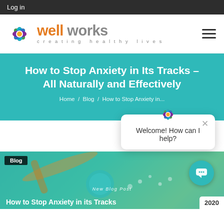Log in
[Figure (logo): Well Works logo — colorful flower petals with 'well works / creating healthy lives' text]
How to Stop Anxiety in Its Tracks – All Naturally and Effectively
Home / Blog / How to Stop Anxiety in...
[Figure (screenshot): Chat popup widget with Well Works logo and message 'Welcome! How can I help?' with close X button]
[Figure (photo): Article header image showing bath salts and natural products with 'Blog' badge, 'New Blog Post' label, and '2020' year badge. Title overlay: 'How to Stop Anxiety in its Tracks']